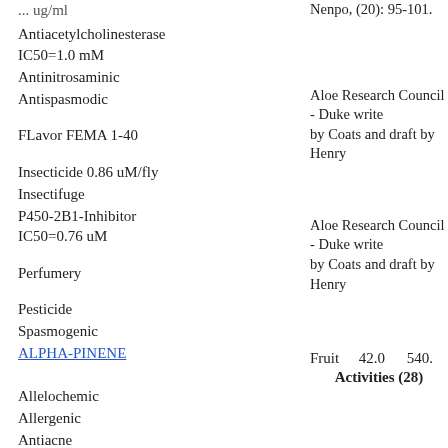Antiacetylcholinesterase IC50=1.0 mM
Antinitrosaminic
Antispasmodic
FLavor FEMA 1-40
Aloe Research Council - Duke write by Coats and draft by Henry
Insecticide 0.86 uM/fly
Insectifuge
P450-2B1-Inhibitor IC50=0.76 uM
Aloe Research Council - Duke write by Coats and draft by Henry
Perfumery
Pesticide
Spasmogenic
ALPHA-PINENE
Fruit   42.0   540.
Activities (28)
Allelochemic
Allergenic
Antiacne
Antibacterial